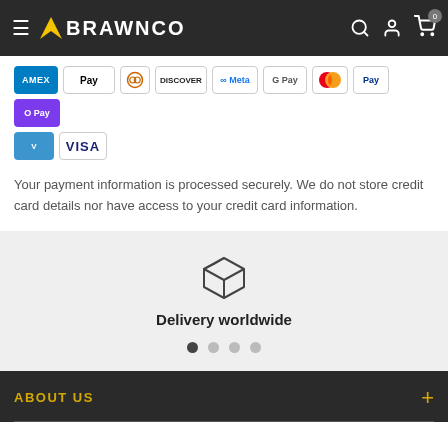BRAWNCO — navigation bar with hamburger menu, logo, search, account, and cart icons
[Figure (other): Payment method icons: AMEX, Apple Pay, Diners, Discover, Meta, Google Pay, Mastercard, PayPal, OPay, Venmo, VISA]
Your payment information is processed securely. We do not store credit card details nor have access to your credit card information.
[Figure (infographic): Box/package icon with text 'Delivery worldwide' and 4 pagination dots (first dot active)]
ABOUT US